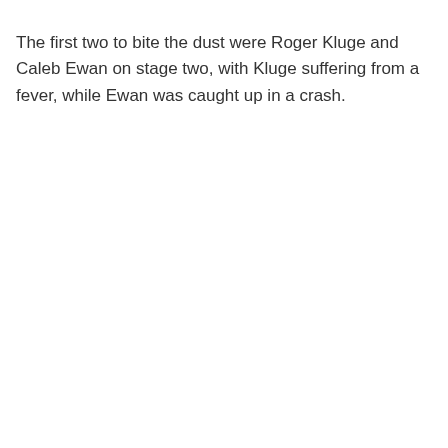The first two to bite the dust were Roger Kluge and Caleb Ewan on stage two, with Kluge suffering from a fever, while Ewan was caught up in a crash.